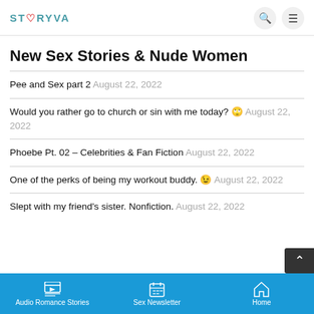STORYVA
New Sex Stories & Nude Women
Pee and Sex part 2 August 22, 2022
Would you rather go to church or sin with me today? 🤔 August 22, 2022
Phoebe Pt. 02 – Celebrities & Fan Fiction August 22, 2022
One of the perks of being my workout buddy. 😉 August 22, 2022
Slept with my friend's sister. Nonfiction. August 22, 2022
Audio Romance Stories | Sex Newsletter | Home